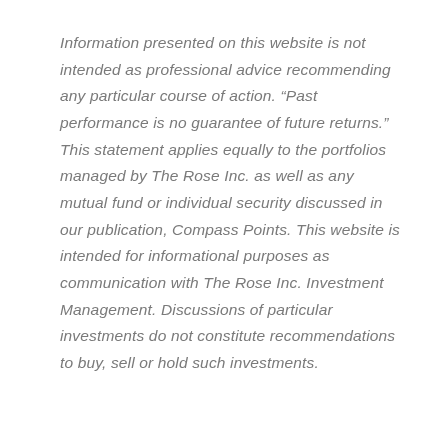Information presented on this website is not intended as professional advice recommending any particular course of action. “Past performance is no guarantee of future returns.” This statement applies equally to the portfolios managed by The Rose Inc. as well as any mutual fund or individual security discussed in our publication, Compass Points. This website is intended for informational purposes as communication with The Rose Inc. Investment Management. Discussions of particular investments do not constitute recommendations to buy, sell or hold such investments.